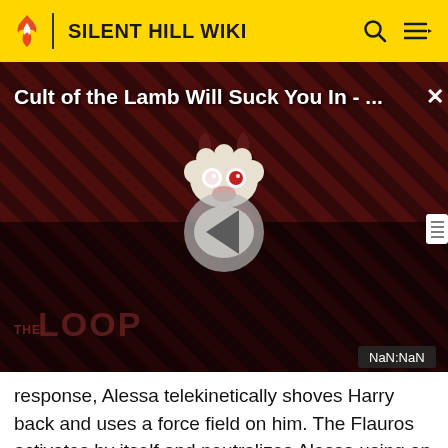SILENT HILL WIKI
[Figure (screenshot): Video thumbnail for 'Cult of the Lamb Will Suck You In - ...' with a cartoon devil-lamb character on a dark red diagonal stripe background, a large play button in the center, 'THE LOOP' text watermark, and a NaN:NaN timestamp label. A close (X) button is in the top-right corner.]
response, Alessa telekinetically shoves Harry back and uses a force field on him. The Flauros activates by itself and neutralizes Alessa using an energized ray of light. The Flauros beam causes Alessa to scream and fall to the floor. Dahlia arrives and scolds Alessa for her recent